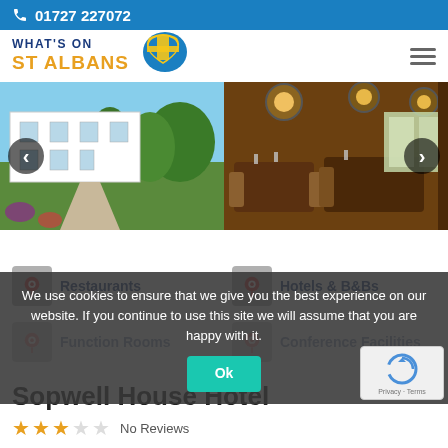01727 227072
[Figure (logo): What's On St Albans logo with flag/heart icon]
[Figure (photo): Image slider showing a white country house hotel exterior on the left and a restaurant interior on the right, with left and right navigation arrows]
Restaurants
Hotels & B&Bs
Function Rooms
Conference Facilities
We use cookies to ensure that we give you the best experience on our website. If you continue to use this site we will assume that you are happy with it.
Sopwell House Hotel
No Reviews